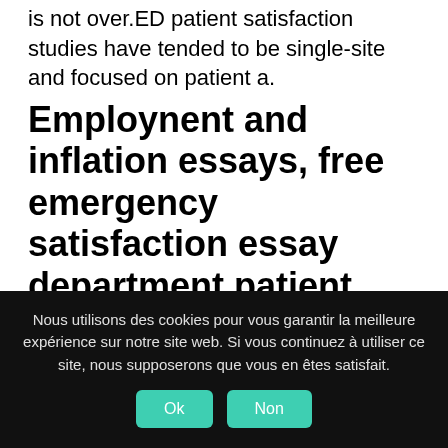is not over.ED patient satisfaction studies have tended to be single-site and focused on patient a.
Employnent and inflation essays, free emergency satisfaction essay department patient
Target time (mins)
% patients currently
within target time)
Nous utilisons des cookies pour vous garantir la meilleure expérience sur notre site web. Si vous continuez à utiliser ce site, nous supposerons que vous en êtes satisfait.